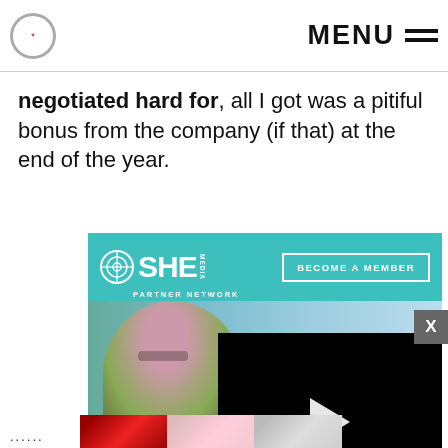MENU
negotiated hard for, all I got was a pitiful bonus from the company (if that) at the end of the year.
[Figure (screenshot): SHE Media Partner Network advertisement with teal background, logo, 'Become a Member' button, photo of smiling woman with glasses, and 'WE HELP GROW BU...' text. Overlaid with a black video player showing a play button, timestamp 13:52, and video controls.]
......